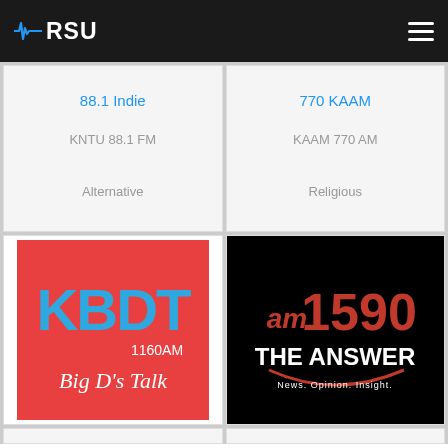RSU
88.1 Indie
KNTU 88.1 FM
Alternative
770 KAAM
KAAM 770 AM
Religious
[Figure (logo): KBDT 1160AM Big D's Talk logo — red background with blue bold letters KBDT, white text 1160AM and cursive Big D's Talk]
[Figure (logo): AM 1590 The Answer logo — black background with red and white text AM1590 THE ANSWER, tagline News. Opinion. Insight.]